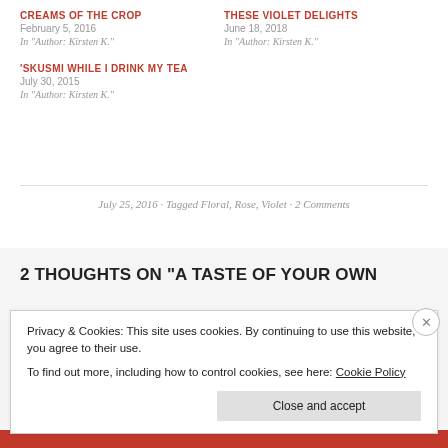CREAMS OF THE CROP
February 5, 2016
In "Author: Kirsten K."
THESE VIOLET DELIGHTS
June 18, 2018
In "Author: Kirsten K."
'SKUSMI WHILE I DRINK MY TEA
July 30, 2015
In "Author: Kirsten K."
July 25, 2016 · Tagged Floral, Rose, Violet · 2 Comments
2 THOUGHTS ON "A TASTE OF YOUR OWN
Privacy & Cookies: This site uses cookies. By continuing to use this website, you agree to their use. To find out more, including how to control cookies, see here: Cookie Policy
Close and accept